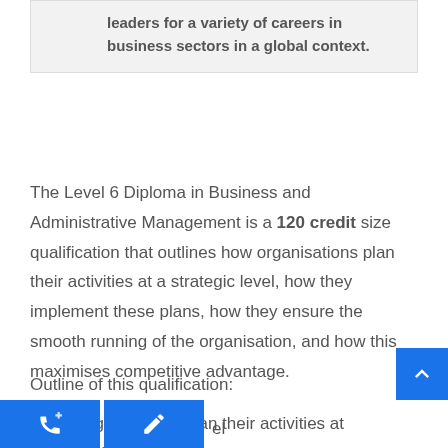leaders for a variety of careers in business sectors in a global context.
The Level 6 Diploma in Business and Administrative Management is a 120 credit size qualification that outlines how organisations plan their activities at a strategic level, how they implement these plans, how they ensure the smooth running of the organisation, and how this maximises competitive advantage.
Outline of this qualification:
How organisations plan their activities at a strategic level